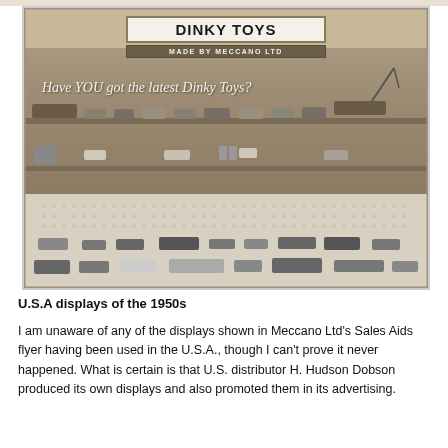[Figure (photo): Black and white photograph of a Dinky Toys retail display stand from the 1950s. The display has a sign reading 'DINKY TOYS MADE BY MECCANO LTD' at the top, with cursive text on the back panel reading 'Have YOU got the latest Dinky Toys?'. Multiple shelves and a pegboard section display various die-cast toy vehicles including cars, trucks, buses, and other vehicles.]
U.S.A displays of the 1950s
I am unaware of any of the displays shown in Meccano Ltd's Sales Aids flyer having been used in the U.S.A., though I can't prove it never happened. What is certain is that U.S. distributor H. Hudson Dobson produced its own displays and also promoted them in its advertising.